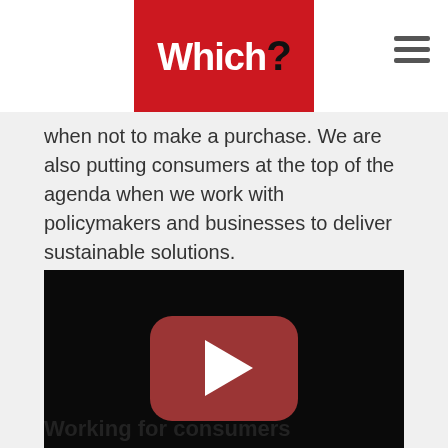Which?
when not to make a purchase. We are also putting consumers at the top of the agenda when we work with policymakers and businesses to deliver sustainable solutions.
[Figure (screenshot): Embedded video player with YouTube-style play button on dark background]
Working for consumers